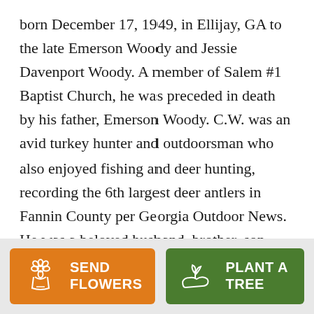born December 17, 1949, in Ellijay, GA to the late Emerson Woody and Jessie Davenport Woody. A member of Salem #1 Baptist Church, he was preceded in death by his father, Emerson Woody. C.W. was an avid turkey hunter and outdoorsman who also enjoyed fishing and deer hunting, recording the 6th largest deer antlers in Fannin County per Georgia Outdoor News. He was a beloved husband, brother, son, stepfather and uncle strong in body and soul, an inspiration to many.
Survivors include: his loving wife, Linda Stowe
[Figure (infographic): Footer bar with two buttons: 'SEND FLOWERS' (orange, flower icon) and 'PLANT A TREE' (green, plant icon)]